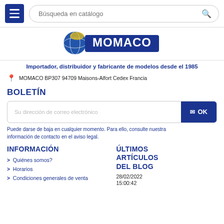Búsqueda en catálogo
[Figure (logo): MOMACO logo with globe graphic and blue/yellow colors]
Importador, distribuidor y fabricante de modelos desde el 1985
MOMACO BP307 94709 Maisons-Alfort Cedex Francia
BOLETÍN
Su dirección de correo electrónico
Puede darse de baja en cualquier momento. Para ello, consulte nuestra información de contacto en el aviso legal.
INFORMACIÓN
Quiénes somos?
Horarios
Condiciones generales de venta
ÚLTIMOS ARTÍCULOS DEL BLOG
28/02/2022
15:00:42